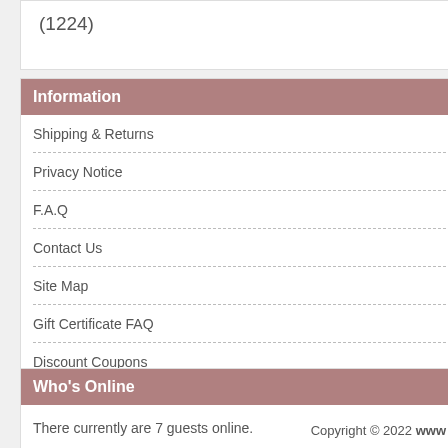(1224)   like
Information
Shipping & Returns
Privacy Notice
F.A.Q
Contact Us
Site Map
Gift Certificate FAQ
Discount Coupons
Newsletter Unsubscribe
Who's Online
There currently are 7 guests online.
Copyright © 2022 www